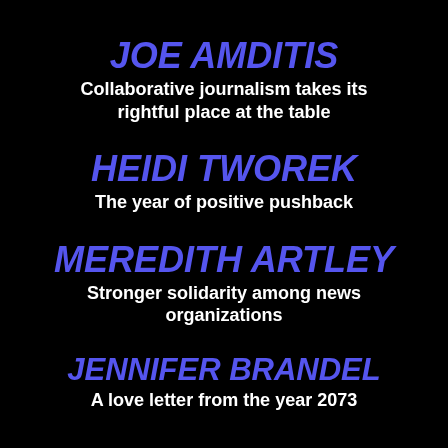JOE AMDITIS
Collaborative journalism takes its rightful place at the table
HEIDI TWOREK
The year of positive pushback
MEREDITH ARTLEY
Stronger solidarity among news organizations
JENNIFER BRANDEL
A love letter from the year 2073